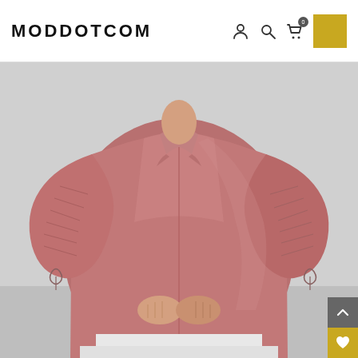MODDOTCOM
[Figure (photo): E-commerce website screenshot showing MODDOTCOM brand header with logo, user/search/cart icons and gold color swatch. Below is a product photo of a woman wearing a dusty rose/mauve satin blouse with ruched drawstring puffed sleeves and a collar. The model's torso is shown against a light grey background. Side navigation buttons (up arrow in dark grey, heart in gold) appear on the bottom right.]